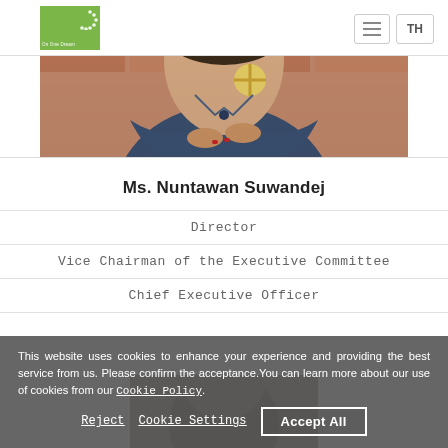On One Dream | TH
[Figure (photo): Photo of Ms. Nuntawan Suwandej in navy blue jacket with arms crossed, against brick wall background, wearing a medal/cross decoration]
Ms. Nuntawan Suwandej
Director
Vice Chairman of the Executive Committee
Chief Executive Officer
This website uses cookies to enhance your experience and providing the best service from us. Please confirm the acceptance.You can learn more about our use of cookies from our Cookie Policy.
Reject   Cookie Settings   Accept All